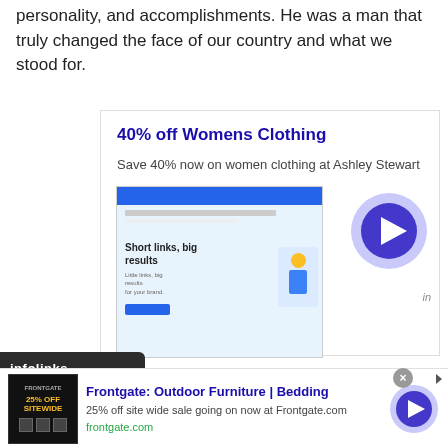personality, and accomplishments. He was a man that truly changed the face of our country and what we stood for.
[Figure (screenshot): Advertisement box for '40% off Womens Clothing' from Ashley Stewart with a URL shortener website screenshot and play button]
[Figure (screenshot): Bottom banner advertisement for Frontgate: Outdoor Furniture | Bedding with 25% off sitewide sale]